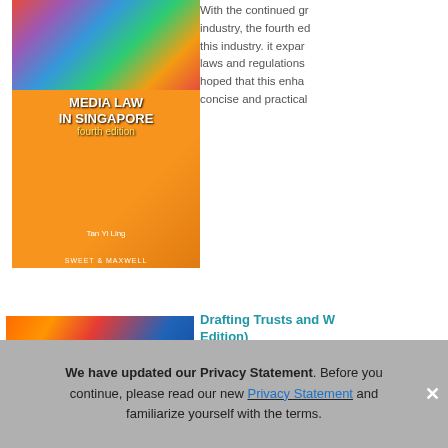[Figure (photo): Book cover: Media Law in Singapore, fourth edition, orange background with colorful mosaic top, white text]
With the continued growth of the media industry, the fourth edition expands on this industry. It expands the coverage of laws and regulations ... It is hoped that this enhanced ... concise and practical...
[Figure (photo): Book cover: Drafting Trusts and Will Trusts in Singapore, A Modern Approach, Second Edition, colorful streaks on dark background]
Drafting Trusts and W... Edition)
An essential reference ... client relationship ma...
We have updated our Privacy Statement. Before you continue, please read our new Privacy Statement and familiarize yourself with the terms.